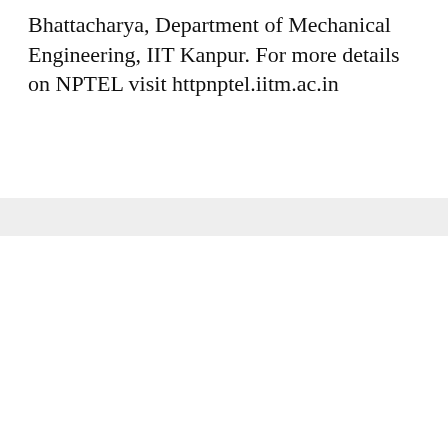Bhattacharya, Department of Mechanical Engineering, IIT Kanpur. For more details on NPTEL visit httpnptel.iitm.ac.in